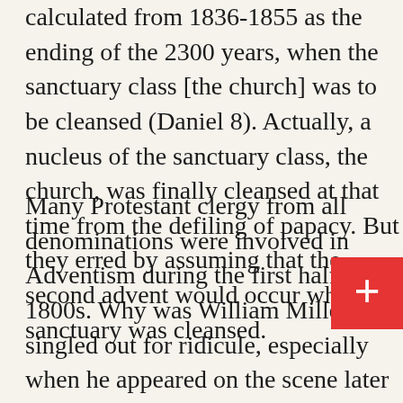calculated from 1836-1855 as the ending of the 2300 years, when the sanctuary class [the church] was to be cleansed (Daniel 8). Actually, a nucleus of the sanctuary class, the church, was finally cleansed at that time from the defiling of papacy. But they erred by assuming that the second advent would occur when the sanctuary was cleansed.
Many Protestant clergy from all denominations were involved in Adventism during the first half of the 1800s. Why was William Miller singled out for ridicule, especially when he appeared on the scene later with much of the same prophetic reasoning as those which preceded him? Miller was an evangelist. He unfortunately used a date for the end of the world to scare thousands to convert or be damned eternally. It's not that Joseph Wolff and others didn't try. Miller was no different from the fundamentalists today who threaten all with eternal hell if they don't accept Jesus before his eminent return. The slogan—"Will you be ready if Jesus comes tomorrow?"
Actually the 19th century Adventists were close in their calculations of the 1260 and 2300 day/years. The ending of the 1260 years of the persecuting power of papacy (Daniel 7 and 25) and the cleansing of the sanctuary (church) from the defiling errors of papacy were milestones on the road of the church to the Second Advent. See the book THY KINGDOM C
[Figure (other): Red square overlay box with white plus symbol, partially covering the last text block]